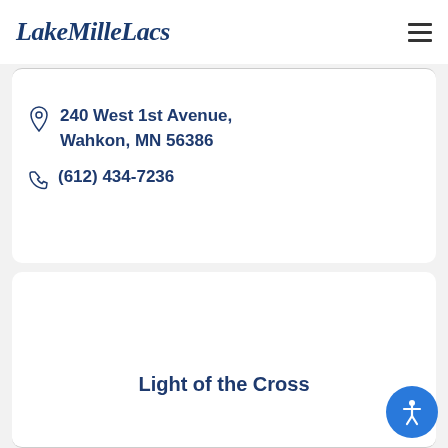LakeMille Lacs
240 West 1st Avenue, Wahkon, MN 56386
(612) 434-7236
Light of the Cross